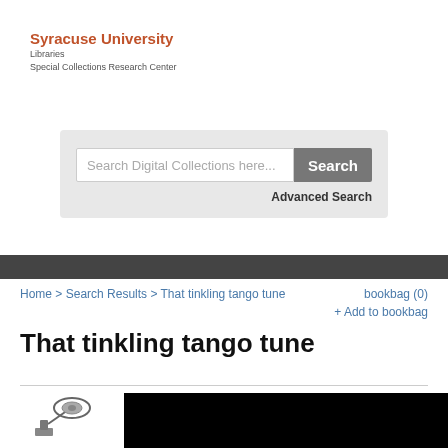Syracuse University Libraries Special Collections Research Center
[Figure (screenshot): Search box with placeholder text 'Search Digital Collections here...' and a Search button, with Advanced Search link below]
Home > Search Results > That tinkling tango tune
bookbag (0) + Add to bookbag
That tinkling tango tune
[Figure (photo): Small thumbnail image of a gramophone/phonograph device on the left, large black image area on the right]